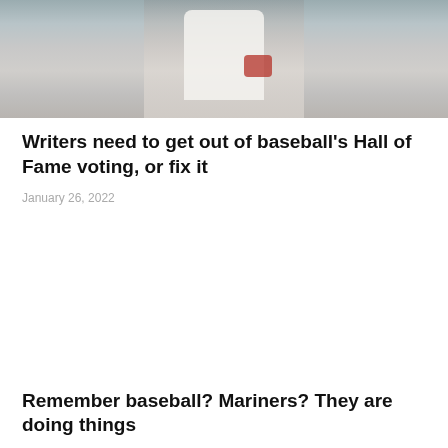[Figure (photo): Baseball player in white uniform with a red glove, photographed from below against a hazy/foggy background]
Writers need to get out of baseball's Hall of Fame voting, or fix it
January 26, 2022
Remember baseball? Mariners? They are doing things